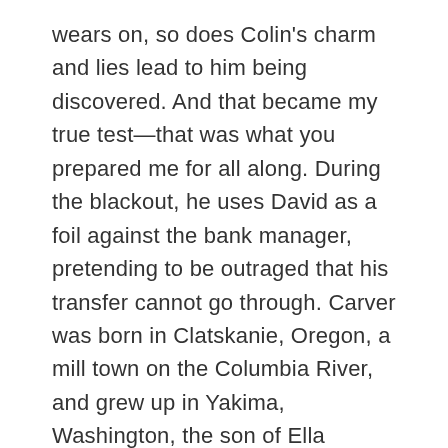wears on, so does Colin's charm and lies lead to him being discovered. And that became my true test—that was what you prepared me for all along. During the blackout, he uses David as a foil against the bank manager, pretending to be outraged that his transfer cannot go through. Carver was born in Clatskanie, Oregon, a mill town on the Columbia River, and grew up in Yakima, Washington, the son of Ella Beatrice born Casey and Clevie Raymond Carver. Meg comes over with wine and is attracted to Colin. Though also the issue sometimes can be seen as the actors not having the type of names which you feel can be bankable. This allows our team to focus on improving the library and adding new essays. We use cookies and other tracking technologies to improve your browsing experience